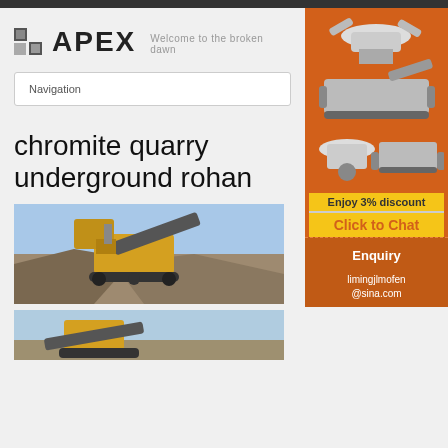[Figure (logo): APEX logo with two small dark squares icon and tagline 'Welcome to the broken dawn']
Navigation
chromite quarry underground rohan
[Figure (photo): Yellow crushing/mining machine working on a gravel/rock pile at a quarry site]
[Figure (photo): Second quarry machinery photo partially visible]
[Figure (infographic): Orange advertisement banner showing mining/crushing machines with 'Enjoy 3% discount' and 'Click to Chat' button]
Enquiry
limingjlmofen@sina.com